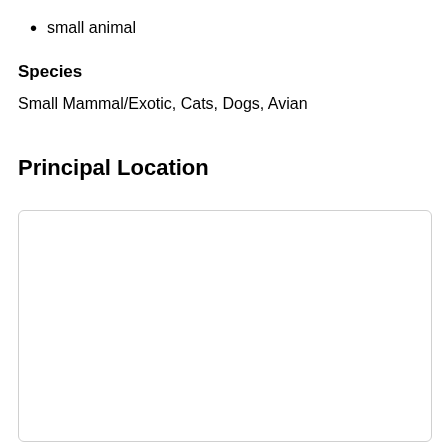small animal
Species
Small Mammal/Exotic, Cats, Dogs, Avian
Principal Location
[Figure (other): Empty bordered box for principal location content]